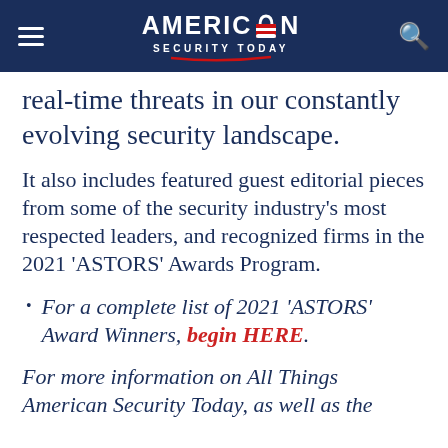AMERICAN SECURITY TODAY
real-time threats in our constantly evolving security landscape.
It also includes featured guest editorial pieces from some of the security industry’s most respected leaders, and recognized firms in the 2021 ‘ASTORS’ Awards Program.
For a complete list of 2021 ‘ASTORS’ Award Winners, begin HERE.
For more information on All Things American Security Today, as well as the